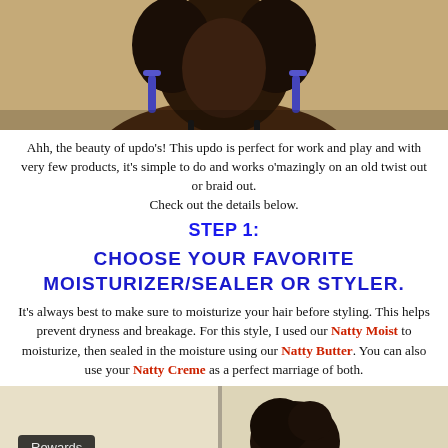[Figure (photo): Photo of a woman with curly hair and blue/purple earrings, cropped to show head and shoulders against a tan/beige wall background.]
Ahh, the beauty of updo's! This updo is perfect for work and play and with very few products, it's simple to do and works o'mazingly on an old twist out or braid out.
Check out the details below.
STEP 1:
CHOOSE YOUR FAVORITE MOISTURIZER/SEALER OR STYLER.
It's always best to make sure to moisturize your hair before styling. This helps prevent dryness and breakage. For this style, I used our Natty Moist to moisturize, then sealed in the moisture using our Natty Butter. You can also use your Natty Creme as a perfect marriage of both.
[Figure (photo): Photo showing a product or hair, partially visible, with a 'Rewards' badge overlay in the bottom left corner.]